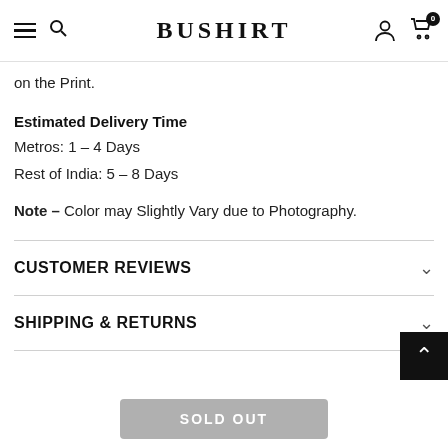BUSHIRT
on the Print.
Estimated Delivery Time
Metros: 1 - 4 Days
Rest of India: 5 - 8 Days
Note – Color may Slightly Vary due to Photography.
CUSTOMER REVIEWS
SHIPPING & RETURNS
SOLD OUT